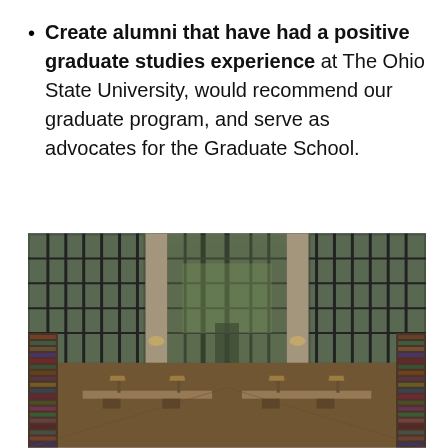Create alumni that have had a positive graduate studies experience at The Ohio State University, would recommend our graduate program, and serve as advocates for the Graduate School.
[Figure (photo): Interior view of a large university library reading room, photographed from above. Three tall floor-to-ceiling windows with grid panes let in daylight and views of trees outside. Rows of long wooden study tables with lamps are visible on the lower level, flanked by bookshelves on both sides.]